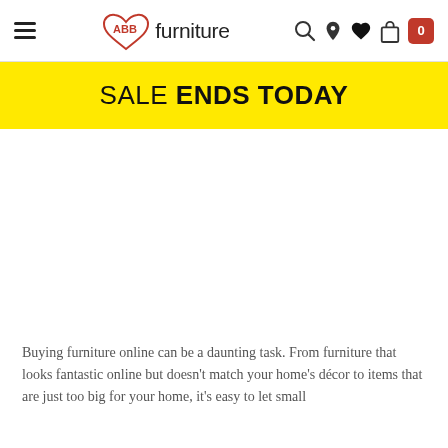ABB furniture - navigation header with hamburger menu, logo, search, location, wishlist, bag, and cart (0)
SALE ENDS TODAY
Buying furniture online can be a daunting task. From furniture that looks fantastic online but doesn't match your home's décor to items that are just too big for your home, it's easy to let small